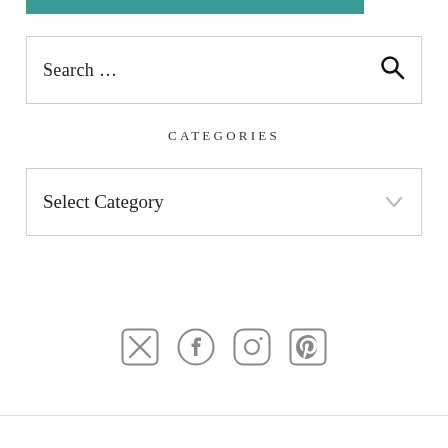[Figure (screenshot): Teal/teal-green banner strip at top of page, partially cropped]
Search ...
CATEGORIES
Select Category
[Figure (infographic): Row of four social media icons: email/envelope (X style), Facebook, Instagram, Pinterest — all in dark gray circular outlines]